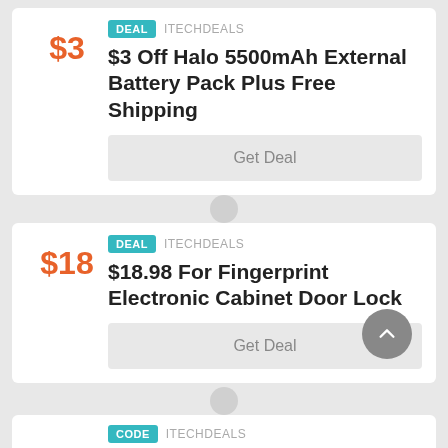DEAL  ITECHDEALS
$3 Off Halo 5500mAh External Battery Pack Plus Free Shipping
$3
Get Deal
DEAL  ITECHDEALS
$18.98 For Fingerprint Electronic Cabinet Door Lock
$18
Get Deal
CODE  ITECHDEALS